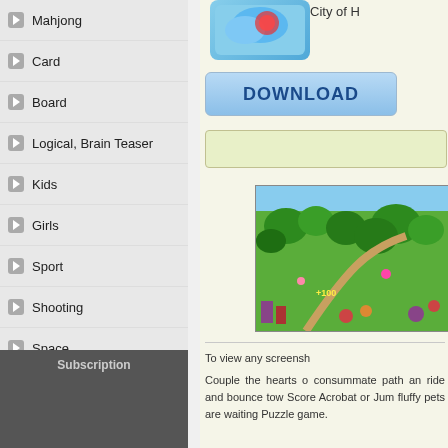Mahjong
Card
Board
Logical, Brain Teaser
Kids
Girls
Sport
Shooting
Space
Strategy Guide
Simulation
News, Articles, Reviews
Sitemap
Subscription
City of H
[Figure (screenshot): Game app icon with blue sky background]
[Figure (illustration): DOWNLOAD button with blue gradient]
[Figure (screenshot): Game screenshot showing colorful map with green terrain, trees, paths and game elements]
To view any screensh
Couple the hearts o consummate path an ride and bounce tow Score Acrobat or Jum fluffy pets are waiting Puzzle game.